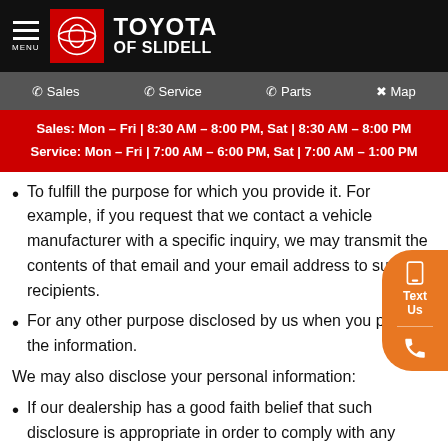TOYOTA OF SLIDELL
Sales  Service  Parts  Map
Sales: Mon – Fri | 8:30 AM – 8:00 PM, Sat | 8:30 AM – 8:00 PM
Service: Mon – Fri | 7:00 AM – 6:00 PM, Sat | 7:00 AM – 1:00 PM
To fulfill the purpose for which you provide it. For example, if you request that we contact a vehicle manufacturer with a specific inquiry, we may transmit the contents of that email and your email address to such recipients.
For any other purpose disclosed by us when you provide the information.
We may also disclose your personal information:
If our dealership has a good faith belief that such disclosure is appropriate in order to comply with any court order, law, or legal process, including